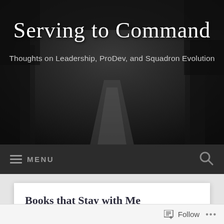Serving to Command
Thoughts on Leadership, ProDev, and Squadron Evolution
[Figure (screenshot): Dark road/path banner image used as background for blog header]
MENU
Books that Stay with Me
[Figure (photo): Book cover showing large red text 'START' on white background]
Follow